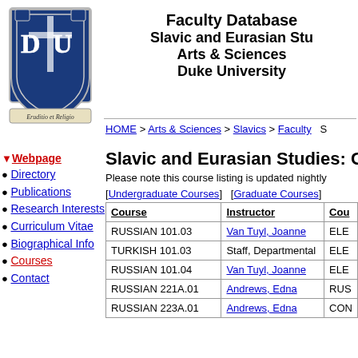[Figure (logo): Duke University crest/shield logo with blue and white colors, motto 'Eruditio et Religio']
Faculty Database
Slavic and Eurasian Studies
Arts & Sciences
Duke University
HOME > Arts & Sciences > Slavics > Faculty  S
Slavic and Eurasian Studies: C
Please note this course listing is updated nightly
Webpage
Directory
Publications
Research Interests
Curriculum Vitae
Biographical Info
Courses
Contact
[Undergraduate Courses]  [Graduate Courses]
| Course | Instructor | Cou |
| --- | --- | --- |
| RUSSIAN 101.03 | Van Tuyl, Joanne | ELE |
| TURKISH 101.03 | Staff, Departmental | ELE |
| RUSSIAN 101.04 | Van Tuyl, Joanne | ELE |
| RUSSIAN 221A.01 | Andrews, Edna | RUS |
| RUSSIAN 223A.01 | Andrews, Edna | CON |